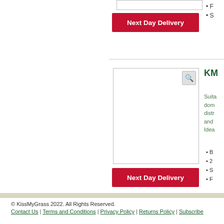[Figure (other): Product image placeholder box at top]
Next Day Delivery
R
S
[Figure (other): Main product image placeholder box with zoom icon]
KM
Suitable for domestic distribution and Ideal
B
2
S
F
Next Day Delivery
© KissMyGrass 2022. All Rights Reserved.
Contact Us | Terms and Conditions | Privacy Policy | Returns Policy | Subscribe